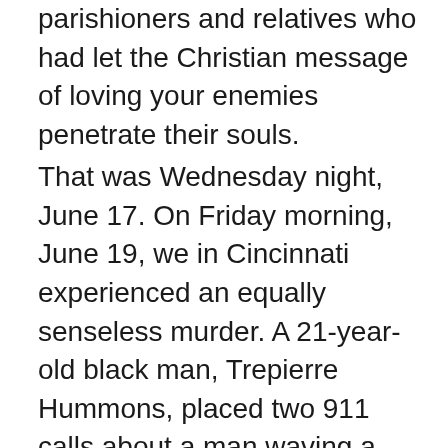parishioners and relatives who had let the Christian message of loving your enemies penetrate their souls.
That was Wednesday night, June 17. On Friday morning, June 19, we in Cincinnati experienced an equally senseless murder. A 21-year-old black man, Trepierre Hummons, placed two 911 calls about a man waving a gun and behaving in a threatening manner. When the first policeman, Sonny Kim, responded, he saw the situation. The mother of Hummons had become concerned about her son and had found him in the street shortly before Officer Kim arrived. The newspaper report read this way:
“As Hummons approached Kim, police say, Hummons’ mother stood between the two men and told Kim, ‘I’ll take him home.’ Then her son drew his gun. And Kim drew his. Hummons shot Kim multiple times and, soon after